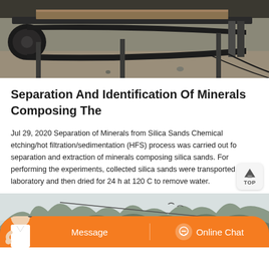[Figure (photo): Industrial machinery/conveyor belt equipment on a factory or mining floor, viewed from the side, dark metal frame and rubber belt visible.]
Separation And Identification Of Minerals Composing The
Jul 29, 2020 Separation of Minerals from Silica Sands Chemical etching/hot filtration/sedimentation (HFS) process was carried out for separation and extraction of minerals composing silica sands. For performing the experiments, collected silica sands were transported to the laboratory and then dried for 24 h at 120 C to remove water.
[Figure (photo): Outdoor industrial/mining site with bare trees in the background, machinery and red/orange equipment visible in the lower part of the image.]